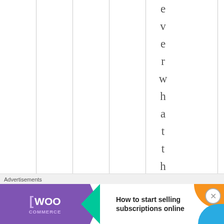e v e r w h a t t h e r e
[Figure (screenshot): Advertisement banner for WooCommerce: 'How to start selling subscriptions online']
Advertisements
How to start selling subscriptions online